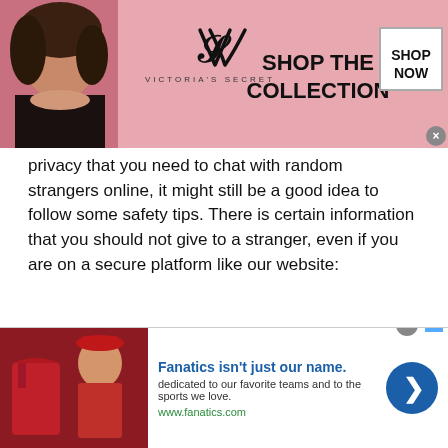[Figure (illustration): Victoria's Secret advertisement banner with a woman on the left, VS logo in center, 'SHOP THE COLLECTION' text, and a 'SHOP NOW' button on the right. Pink background.]
privacy that you need to chat with random strangers online, it might still be a good idea to follow some safety tips. There is certain information that you should not give to a stranger, even if you are on a secure platform like our website:
Your real name
The names of your friends or family members
Addresses which include your home, workplace, or school address
[Figure (illustration): Fanatics advertisement banner. Left side shows clothing items (polo shirt, person in winter gear) on a dark red background. Right side shows 'Fanatics isn't just our name.' headline in blue, description text, www.fanatics.com URL, and a blue circular arrow button.]